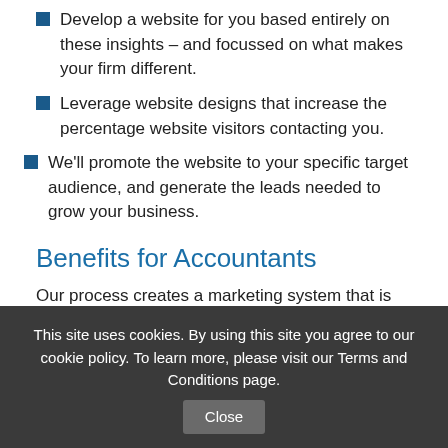Develop a website for you based entirely on these insights – and focussed on what makes your firm different.
Leverage website designs that increase the percentage website visitors contacting you.
We'll promote the website to your specific target audience, and generate the leads needed to grow your business.
Benefits for Accountants
Our process creates a marketing system that is unique to you.
It's proving highly effective – even in ultra-competitive
This site uses cookies. By using this site you agree to our cookie policy. To learn more, please visit our Terms and Conditions page.